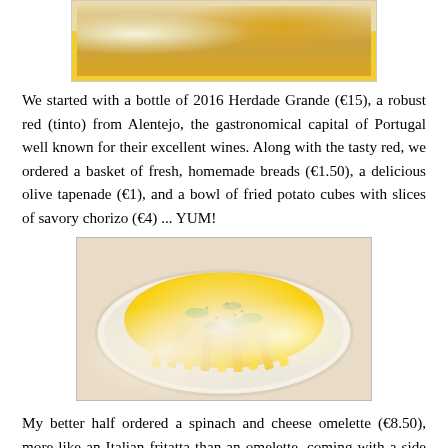[Figure (photo): Photo of food dishes on a table with yellow tablecloth, showing appetizers including breads and potato cubes]
We started with a bottle of 2016 Herdade Grande (€15), a robust red (tinto) from Alentejo, the gastronomical capital of Portugal well known for their excellent wines. Along with the tasty red, we ordered a basket of fresh, homemade breads (€1.50), a delicious olive tapenade (€1), and a bowl of fried potato cubes with slices of savory chorizo (€4) ... YUM!
[Figure (photo): Photo of a plate with spinach and cheese omelette topped with seasoning, served with a side of crispy french fries on a white decorative plate]
My better half ordered a spinach and cheese omelette (€8.50), more like an Italian fritatta than an omelette, coming with a side of hot, crispy fries. My wife gave me